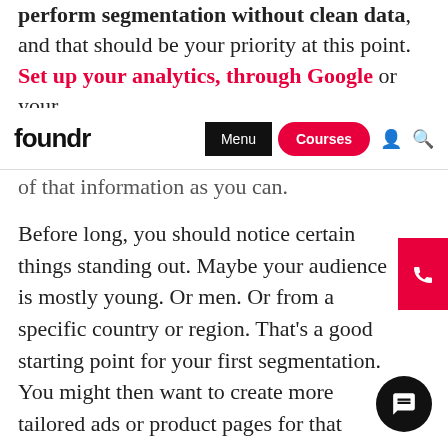perform segmentation without clean data, and that should be your priority at this point. Set up your analytics, through Google or your
[Figure (screenshot): Foundr website navigation bar with logo, Menu button, Courses button, user icon, and search icon]
of that information as you can.
Before long, you should notice certain things standing out. Maybe your audience is mostly young. Or men. Or from a specific country or region. That's a good starting point for your first segmentation. You might then want to create more tailored ads or product pages for that segment, send traffic to them, and compare results against your originals.